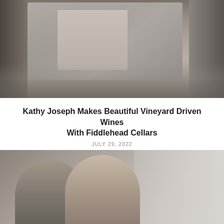[Figure (photo): Photo of a woman smiling on a video call screen, shown on a monitor with wine glasses and a wine bottle in the foreground]
Kathy Joseph Makes Beautiful Vineyard Driven Wines With Fiddlehead Cellars
JULY 29, 2022
[Figure (photo): Photo of two people smiling together, a man and a woman, in an indoor setting]